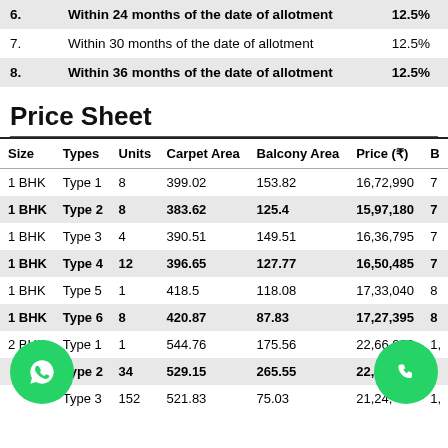|  | Description | Amount |
| --- | --- | --- |
| 6. | Within 24 months of the date of allotment | 12.5% |
| 7. | Within 30 months of the date of allotment | 12.5% |
| 8. | Within 36 months of the date of allotment | 12.5% |
Price Sheet
| Size | Types | Units | Carpet Area | Balcony Area | Price (₹) | B |
| --- | --- | --- | --- | --- | --- | --- |
| 1 BHK | Type 1 | 8 | 399.02 | 153.82 | 16,72,990 | 7 |
| 1 BHK | Type 2 | 8 | 383.62 | 125.4 | 15,97,180 | 7 |
| 1 BHK | Type 3 | 4 | 390.51 | 149.51 | 16,36,795 | 7 |
| 1 BHK | Type 4 | 12 | 396.65 | 127.77 | 16,50,485 | 7 |
| 1 BHK | Type 5 | 1 | 418.5 | 118.08 | 17,33,040 | 8 |
| 1 BHK | Type 6 | 8 | 420.87 | 87.83 | 17,27,395 | 8 |
| 2 BHK | Type 1 | 1 | 544.76 | 175.56 | 22,66,820 | 1, |
| 2 BHK | Type 2 | 34 | 529.15 | 265.55 | 22,4… |  |
| 2 BHK | Type 3 | 152 | 521.83 | 75.03 | 21,24,… | 1, |